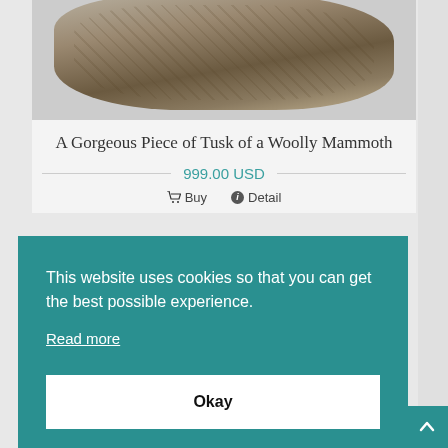[Figure (photo): Photograph of a piece of woolly mammoth tusk on a gray background, showing the curved fossilized ivory fragment with natural patterns and texture]
A Gorgeous Piece of Tusk of a Woolly Mammoth
999.00 USD
🛒 Buy    ℹ Detail
This website uses cookies so that you can get the best possible experience. Read more
Okay